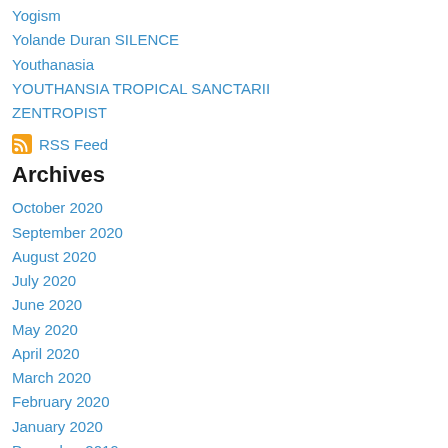Yogism
Yolande Duran SILENCE
Youthanasia
YOUTHANSIA TROPICAL SANCTARII
ZENTROPIST
RSS Feed
Archives
October 2020
September 2020
August 2020
July 2020
June 2020
May 2020
April 2020
March 2020
February 2020
January 2020
December 2019
November 2019
August 2019